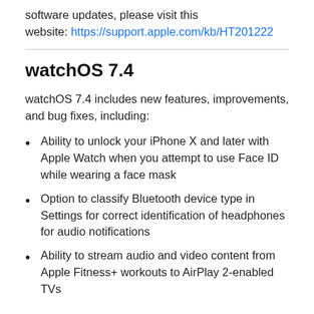software updates, please visit this website: https://support.apple.com/kb/HT201222
watchOS 7.4
watchOS 7.4 includes new features, improvements, and bug fixes, including:
Ability to unlock your iPhone X and later with Apple Watch when you attempt to use Face ID while wearing a face mask
Option to classify Bluetooth device type in Settings for correct identification of headphones for audio notifications
Ability to stream audio and video content from Apple Fitness+ workouts to AirPlay 2-enabled TVs